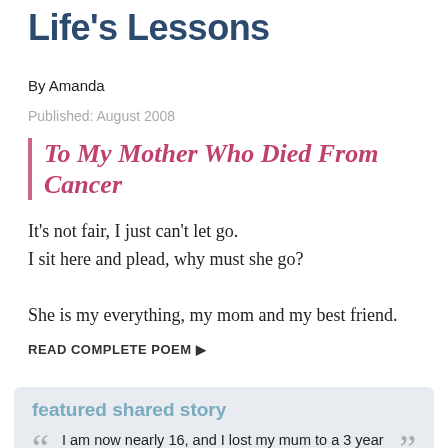Life's Lessons
By Amanda
Published: August 2008
To My Mother Who Died From Cancer
It's not fair, I just can't let go.
I sit here and plead, why must she go?

She is my everything, my mom and my best friend.
READ COMPLETE POEM ▶
featured shared story
I am now nearly 16, and I lost my mum to a 3 year battle of Secondary Glioblastoma when I was only 9. She was 39 when she passed. This poem has quickly become more important to me than any of...